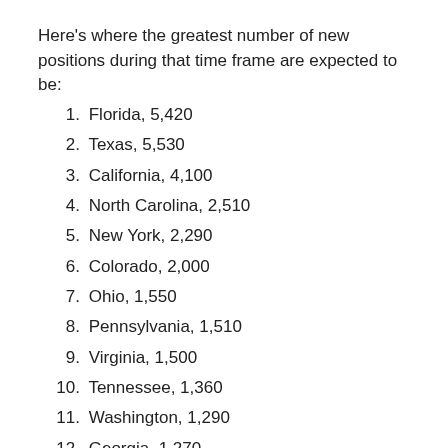Here's where the greatest number of new positions during that time frame are expected to be:
1. Florida, 5,420
2. Texas, 5,530
3. California, 4,100
4. North Carolina, 2,510
5. New York, 2,290
6. Colorado, 2,000
7. Ohio, 1,550
8. Pennsylvania, 1,510
9. Virginia, 1,500
10. Tennessee, 1,360
11. Washington, 1,290
12. Georgia, 1,270
13. New Jersey, 1,170
14. Utah, 1,170
15. South Carolina, 1,160